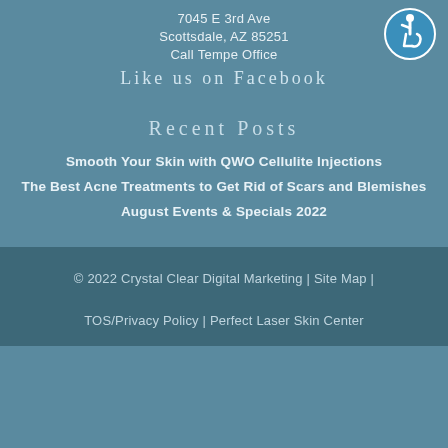7045 E 3rd Ave
Scottsdale, AZ 85251
Call Tempe Office
Like us on Facebook
[Figure (logo): International Symbol of Access - wheelchair accessibility icon in blue circle with white border]
Recent Posts
Smooth Your Skin with QWO Cellulite Injections
The Best Acne Treatments to Get Rid of Scars and Blemishes
August Events & Specials 2022
© 2022 Crystal Clear Digital Marketing | Site Map | TOS/Privacy Policy | Perfect Laser Skin Center